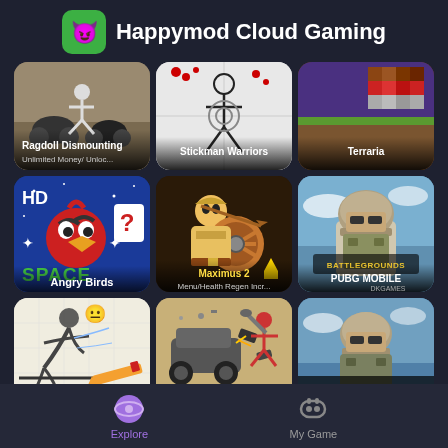Happymod Cloud Gaming
[Figure (screenshot): Grid of game app icons: Row 1: Ragdoll Dismounting (Unlimited Money/Unloc...), Stickman Warriors, Terraria. Row 2: Angry Birds, Maximus 2 (Menu/Health Regen Incr...), PUBG MOBILE. Row 3: Draw game, Ragdoll car crash game, PUBG Mobile Chinese version.]
Explore   My Game